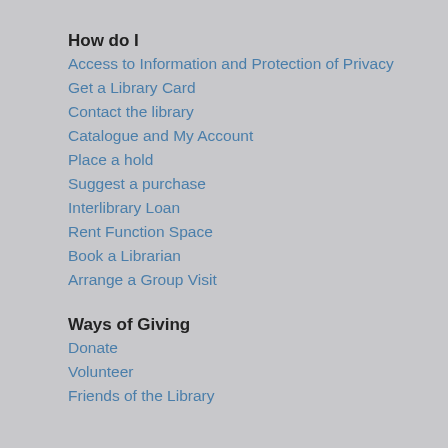How do I
Access to Information and Protection of Privacy
Get a Library Card
Contact the library
Catalogue and My Account
Place a hold
Suggest a purchase
Interlibrary Loan
Rent Function Space
Book a Librarian
Arrange a Group Visit
Ways of Giving
Donate
Volunteer
Friends of the Library